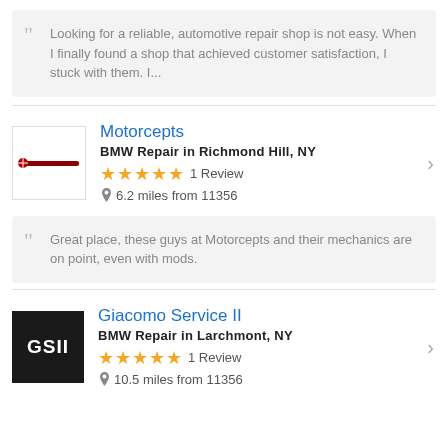Looking for a reliable, automotive repair shop is not easy. When I finally found a shop that achieved customer satisfaction, I stuck with them. I...
Motorcepts
BMW Repair in Richmond Hill, NY
★★★★★ 1 Review
6.2 miles from 11356
Great place, these guys at Motorcepts and their mechanics are on point, even with mods.
Giacomo Service II
BMW Repair in Larchmont, NY
★★★★★ 1 Review
10.5 miles from 11356